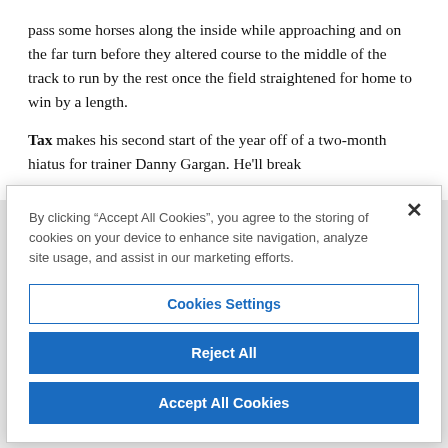pass some horses along the inside while approaching and on the far turn before they altered course to the middle of the track to run by the rest once the field straightened for home to win by a length.
Tax makes his second start of the year off of a two-month hiatus for trainer Danny Gargan. He'll break
By clicking “Accept All Cookies”, you agree to the storing of cookies on your device to enhance site navigation, analyze site usage, and assist in our marketing efforts.
Cookies Settings
Reject All
Accept All Cookies